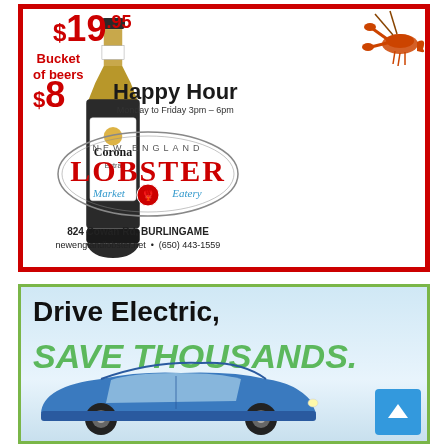[Figure (illustration): Advertisement for New England Lobster Market & Eatery. Features a Corona Extra beer bottle illustration, a crawfish/lobster illustration, prices ($19.95, Bucket of beers $8), Happy Hour Monday to Friday 3pm-6pm, lobster logo, address 824 Cowan Rd BURLINGAME, newenglandlobster.net (650) 443-1559. Red border.]
[Figure (illustration): Advertisement: Drive Electric, SAVE THOUSANDS. Shows a blue electric car (hatchback). Light blue gradient background. Green border. Scroll-to-top button in lower right corner.]